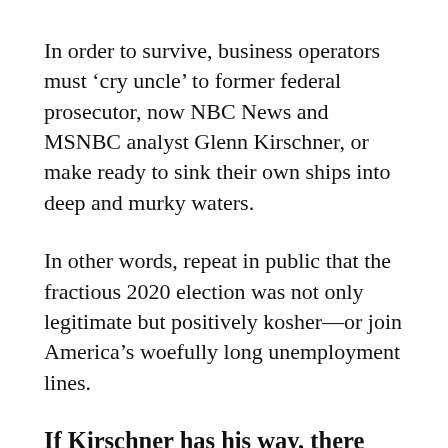In order to survive, business operators must 'cry uncle' to former federal prosecutor, now NBC News and MSNBC analyst Glenn Kirschner, or make ready to sink their own ships into deep and murky waters.
In other words, repeat in public that the fractious 2020 election was not only legitimate but positively kosher—or join America's woefully long unemployment lines.
If Kirschner has his way, there will be no escaping the enforced 'Democracy' Pledge